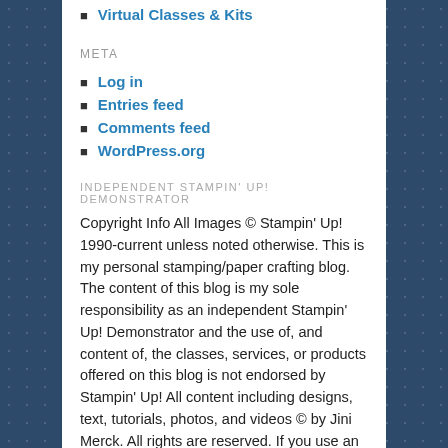Virtual Classes & Kits
META
Log in
Entries feed
Comments feed
WordPress.org
INDEPENDENT STAMPIN' UP! DEMONSTRATOR
Copyright Info All Images © Stampin' Up! 1990-current unless noted otherwise. This is my personal stamping/paper crafting blog. The content of this blog is my sole responsibility as an independent Stampin' Up! Demonstrator and the use of, and content of, the classes, services, or products offered on this blog is not endorsed by Stampin' Up! All content including designs, text, tutorials, photos, and videos © by Jini Merck. All rights are reserved. If you use an idea you've seen on my website Please share the fun of stamping and post where you have seen it on my blog. Thanks!
[Figure (other): Pinterest Save button with red background and pin icon]